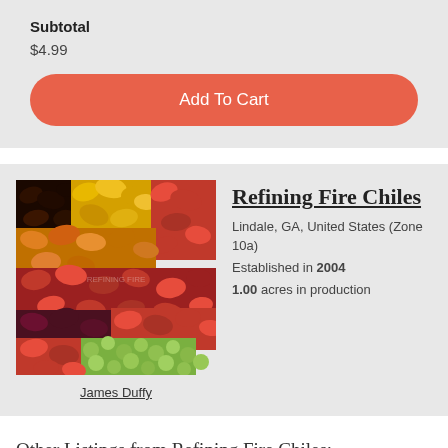Subtotal
$4.99
Add To Cart
[Figure (photo): A colorful pile of various dried chili peppers in red, orange, yellow, dark purple/black, and green colors arranged on a wooden surface.]
James Duffy
Refining Fire Chiles
Lindale, GA, United States (Zone 10a)
Established in 2004
1.00 acres in production
Other Listings from Refining Fire Chiles: